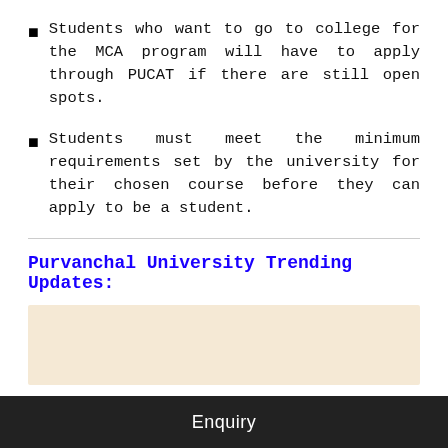Students who want to go to college for the MCA program will have to apply through PUCAT if there are still open spots.
Students must meet the minimum requirements set by the university for their chosen course before they can apply to be a student.
Purvanchal University Trending Updates:
[Figure (other): Beige/cream colored advertisement or content placeholder box]
Purvanchal University Combined Admission Test
Enquiry